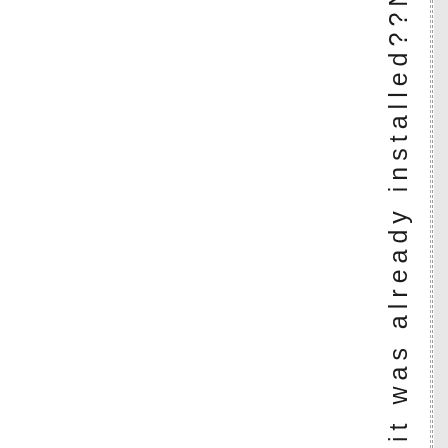it was already installed??Nevermind